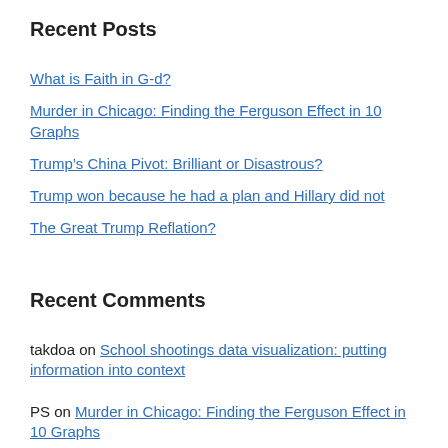Recent Posts
What is Faith in G-d?
Murder in Chicago: Finding the Ferguson Effect in 10 Graphs
Trump’s China Pivot: Brilliant or Disastrous?
Trump won because he had a plan and Hillary did not
The Great Trump Reflation?
Recent Comments
takdoa on School shootings data visualization: putting information into context
PS on Murder in Chicago: Finding the Ferguson Effect in 10 Graphs
PS on ...